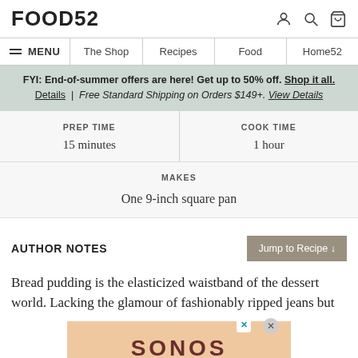FOOD52
MENU | The Shop | Recipes | Food | Home52
FYI: End-of-summer offers are here! Get up to 50% off. Shop it all. Details | Free Standard Shipping on Orders $149+. View Details
| PREP TIME | COOK TIME |
| --- | --- |
| 15 minutes | 1 hour |
MAKES
One 9-inch square pan
AUTHOR NOTES
Bread pudding is the elasticized waistband of the dessert world. Lacking the glamour of fashionably ripped jeans but